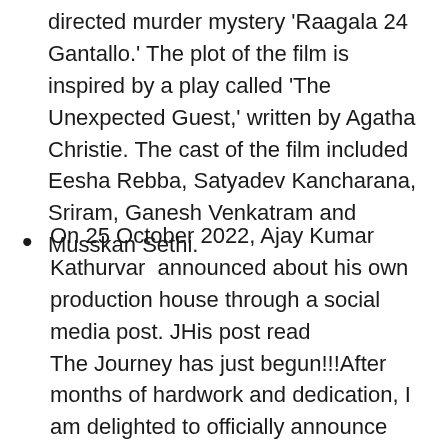directed murder mystery 'Raagala 24 Gantallo.' The plot of the film is inspired by a play called 'The Unexpected Guest,' written by Agatha Christie. The cast of the film included Eesha Rebba, Satyadev Kancharana, Sriram, Ganesh Venkatram and Musskan Sethi.
On 25 October 2022, Ajay Kumar Kathurvar  announced about his own production house through a social media post. JHis post read The Journey has just begun!!!After months of hardwork and dedication, I am delighted to officially announce that I have started my own production house 'PADMAARJUNA'.As an independent writer and director I want to bring my